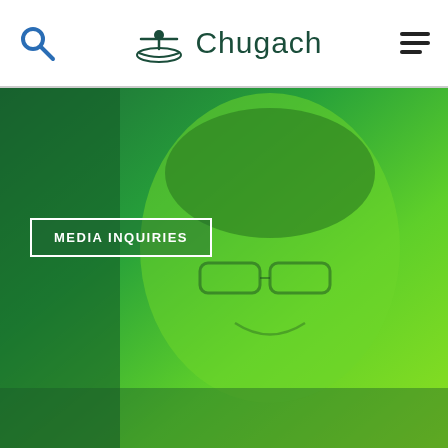Chugach
[Figure (photo): Woman smiling with glasses, overlaid with green gradient, Chugach website hero image]
MEDIA INQUIRIES